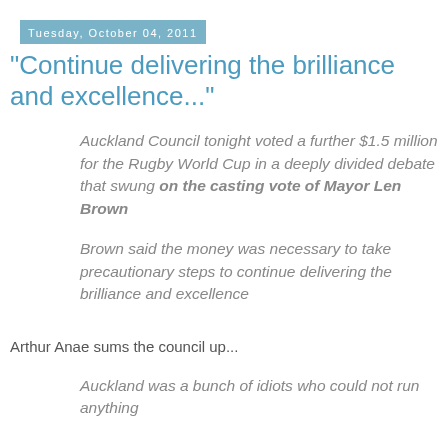Tuesday, October 04, 2011
"Continue delivering the brilliance and excellence..."
Auckland Council tonight voted a further $1.5 million for the Rugby World Cup in a deeply divided debate that swung on the casting vote of Mayor Len Brown
Brown said the money was necessary to take precautionary steps to continue delivering the brilliance and excellence
Arthur Anae sums the council up...
Auckland was a bunch of idiots who could not run anything